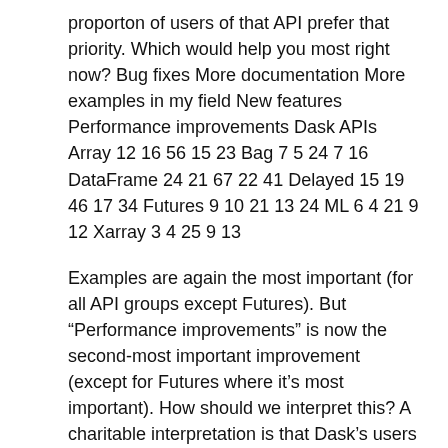proporton of users of that API prefer that priority. Which would help you most right now? Bug fixes More documentation More examples in my field New features Performance improvements Dask APIs Array 12 16 56 15 23 Bag 7 5 24 7 16 DataFrame 24 21 67 22 41 Delayed 15 19 46 17 34 Futures 9 10 21 13 24 ML 6 4 21 9 12 Xarray 3 4 25 9 13
Examples are again the most important (for all API groups except Futures). But “Performance improvements” is now the second-most important improvement (except for Futures where it’s most important). How should we interpret this? A charitable interpretation is that Dask’s users are scaling to larger problems and are running into new scaling challenges. A less charitable interpretation is that our user’s workflows are the same but Dask is getting